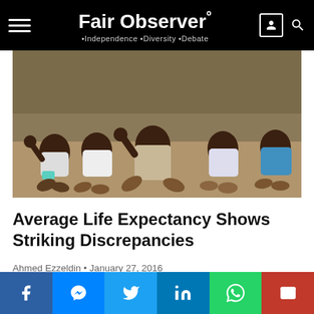Fair Observer° • Independence • Diversity • Debate
[Figure (photo): Several young African children sitting on the ground, wearing school uniforms, some with hands raised, photographed at close range.]
Average Life Expectancy Shows Striking Discrepancies
Ahmed Ezzeldin • January 27, 2016
[Figure (other): Gray placeholder content area]